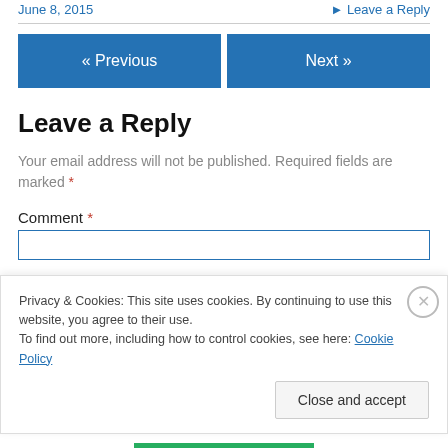June 8, 2015   ▶ Leave a Reply
Leave a Reply
Your email address will not be published. Required fields are marked *
Comment *
Privacy & Cookies: This site uses cookies. By continuing to use this website, you agree to their use.
To find out more, including how to control cookies, see here: Cookie Policy